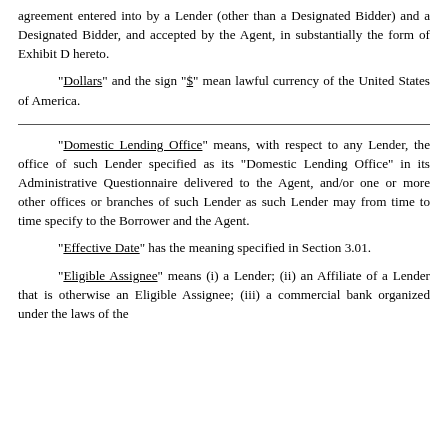agreement entered into by a Lender (other than a Designated Bidder) and a Designated Bidder, and accepted by the Agent, in substantially the form of Exhibit D hereto.
“Dollars” and the sign “$” mean lawful currency of the United States of America.
“Domestic Lending Office” means, with respect to any Lender, the office of such Lender specified as its “Domestic Lending Office” in its Administrative Questionnaire delivered to the Agent, and/or one or more other offices or branches of such Lender as such Lender may from time to time specify to the Borrower and the Agent.
“Effective Date” has the meaning specified in Section 3.01.
“Eligible Assignee” means (i) a Lender; (ii) an Affiliate of a Lender that is otherwise an Eligible Assignee; (iii) a commercial bank organized under the laws of the